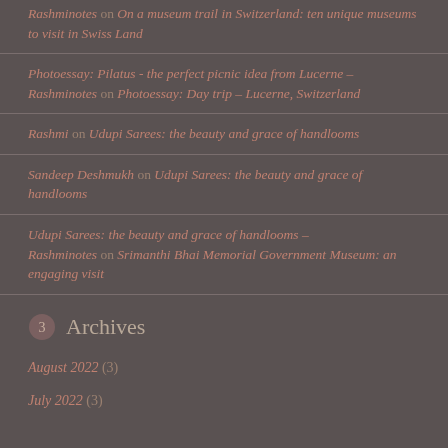Rashminotes on On a museum trail in Switzerland: ten unique museums to visit in Swiss Land
Photoessay: Pilatus - the perfect picnic idea from Lucerne – Rashminotes on Photoessay: Day trip – Lucerne, Switzerland
Rashmi on Udupi Sarees: the beauty and grace of handlooms
Sandeep Deshmukh on Udupi Sarees: the beauty and grace of handlooms
Udupi Sarees: the beauty and grace of handlooms – Rashminotes on Srimanthi Bhai Memorial Government Museum: an engaging visit
Archives
August 2022 (3)
July 2022 (3)